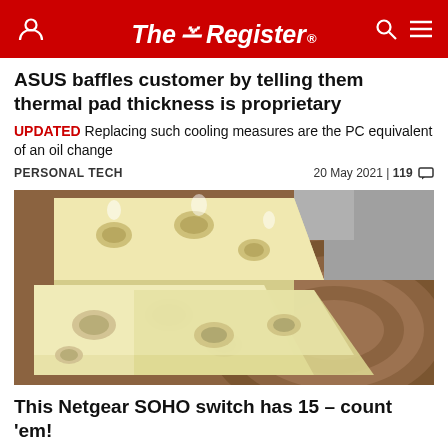The Register
ASUS baffles customer by telling them thermal pad thickness is proprietary
UPDATED Replacing such cooling measures are the PC equivalent of an oil change
PERSONAL TECH   20 May 2021 | 119
[Figure (photo): Slices of Swiss cheese with holes on a wooden cutting board]
This Netgear SOHO switch has 15 – count 'em!